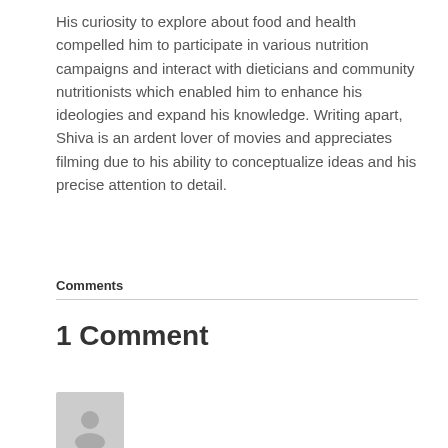His curiosity to explore about food and health compelled him to participate in various nutrition campaigns and interact with dieticians and community nutritionists which enabled him to enhance his ideologies and expand his knowledge. Writing apart, Shiva is an ardent lover of movies and appreciates filming due to his ability to conceptualize ideas and his precise attention to detail.
Comments
1 Comment
[Figure (illustration): Generic user avatar icon — a grey silhouette of a person on a light grey square background]